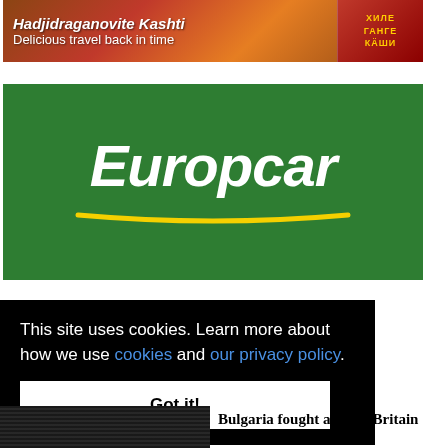[Figure (illustration): Banner advertisement for 'Hadjidraganovite Kashti – Delicious travel back in time' with ornate historical imagery and Cyrillic text on the right side]
[Figure (logo): Europcar logo on green background with white italic text 'Europcar' and yellow curved underline]
This site uses cookies. Learn more about how we use cookies and our privacy policy.
Got it!
[Figure (photo): Black and white historical photograph of a crowd of people]
Bulgaria fought against Britain